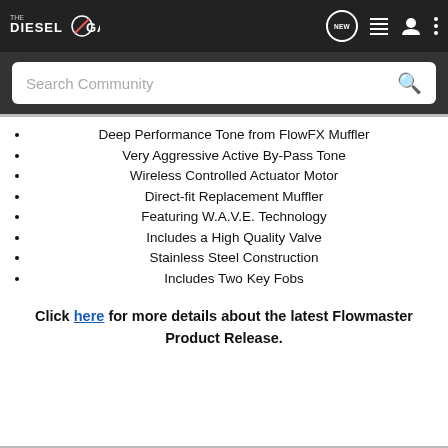THE DIESEL GARAGE — navigation bar with logo, NEW chat icon, list icon, user icon, menu dots
Search Community
Deep Performance Tone from FlowFX Muffler
Very Aggressive Active By-Pass Tone
Wireless Controlled Actuator Motor
Direct-fit Replacement Muffler
Featuring W.A.V.E. Technology
Includes a High Quality Valve
Stainless Steel Construction
Includes Two Key Fobs
Click here for more details about the latest Flowmaster Product Release.